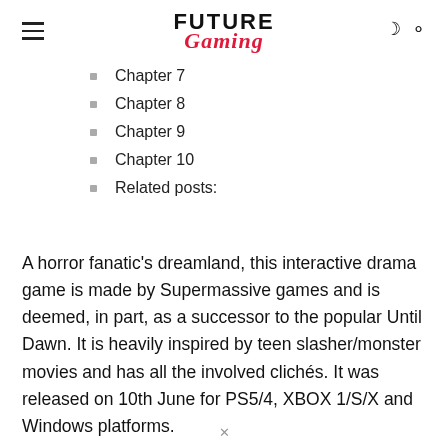Future Gaming
Chapter 7
Chapter 8
Chapter 9
Chapter 10
Related posts:
A horror fanatic’s dreamland, this interactive drama game is made by Supermassive games and is deemed, in part, as a successor to the popular Until Dawn. It is heavily inspired by teen slasher/monster movies and has all the involved clichés. It was released on 10th June for PS5/4, XBOX 1/S/X and Windows platforms.
×